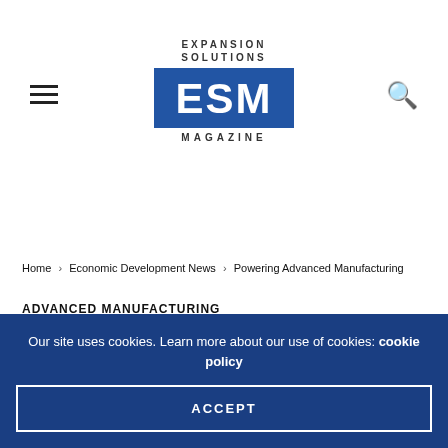[Figure (logo): Expansion Solutions ESM Magazine logo with blue box containing white ESM text]
Home > Economic Development News > Powering Advanced Manufacturing
ADVANCED MANUFACTURING
Powering Advanced...
Our site uses cookies. Learn more about our use of cookies: cookie policy
ACCEPT